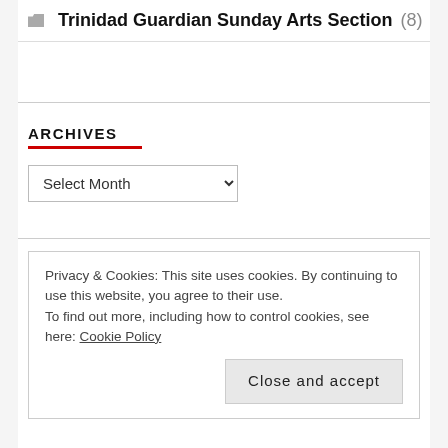Trinidad Guardian Sunday Arts Section (8)
ARCHIVES
Select Month
Privacy & Cookies: This site uses cookies. By continuing to use this website, you agree to their use.
To find out more, including how to control cookies, see here: Cookie Policy
Close and accept